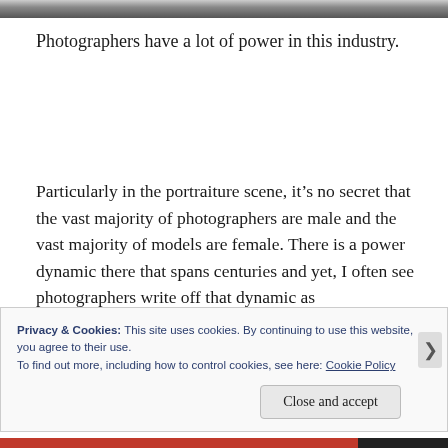[Figure (photo): Partial top strip of a black and white photograph, cropped at the top of the page]
Photographers have a lot of power in this industry.
Particularly in the portraiture scene, it’s no secret that the vast majority of photographers are male and the vast majority of models are female. There is a power dynamic there that spans centuries and yet, I often see photographers write off that dynamic as
Privacy & Cookies: This site uses cookies. By continuing to use this website, you agree to their use.
To find out more, including how to control cookies, see here: Cookie Policy
Close and accept